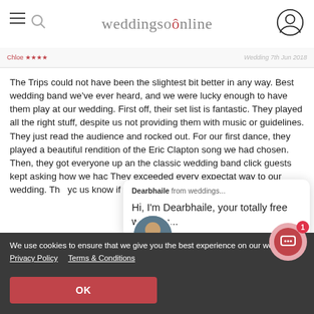weddingsonline
Wedding 7th Jun 2018
The Trips could not have been the slightest bit better in any way. Best wedding band we've ever heard, and we were lucky enough to have them play at our wedding. First off, their set list is fantastic. They played all the right stuff, despite us not providing them with music or guidelines. They just read the audience and rocked out. For our first dance, they played a beautiful rendition of the Eric Clapton song we had chosen. Then, they got everyone up an the classic wedding band click guests kept asking how we had They exceeded every expectat way to our wedding. Th yc us know if you ever play in New York City!
Dearbhaile from weddings...
Hi, I'm Dearbhaile, your totally free wedding...
We use cookies to ensure that we give you the best experience on our website.
Privacy Policy   Terms & Conditions
OK